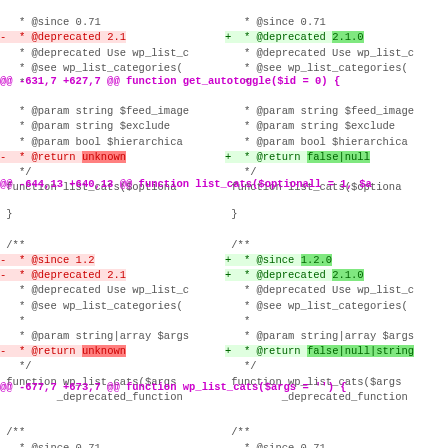Unified diff code view showing changes to WordPress PHP functions including list_cats and wp_list_cats, with annotations for @since, @deprecated, and @return type corrections (unknown -> false|null).